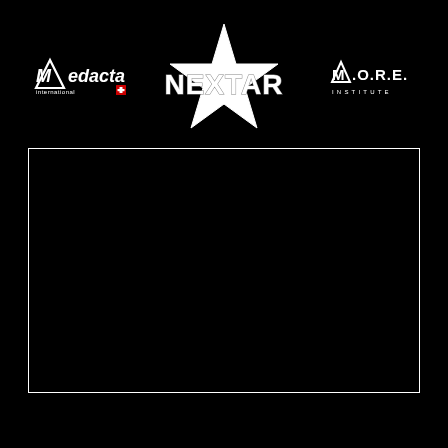[Figure (logo): Medacta International logo with triangle/mountain symbol and Swiss flag, white text on black background]
[Figure (logo): NEXTAR logo in bold metallic/rocky white text with a star graphic on black background]
[Figure (logo): M.O.R.E. INSTITUTE logo in white text on black background]
[Figure (other): Black rectangle with white border, empty video/content frame area]